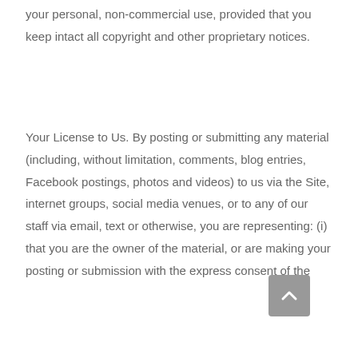your personal, non-commercial use, provided that you keep intact all copyright and other proprietary notices.
Your License to Us. By posting or submitting any material (including, without limitation, comments, blog entries, Facebook postings, photos and videos) to us via the Site, internet groups, social media venues, or to any of our staff via email, text or otherwise, you are representing: (i) that you are the owner of the material, or are making your posting or submission with the express consent of the